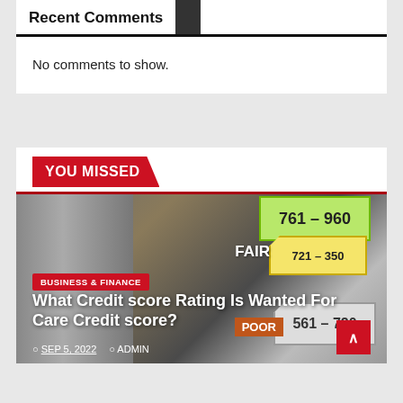Recent Comments
No comments to show.
YOU MISSED
[Figure (photo): Article thumbnail showing stacked coins and credit score rating cards labeled FAIR, POOR, with score ranges 561-720, 721-350, and 761-960 visible]
BUSINESS & FINANCE
What Credit score Rating Is Wanted For Care Credit score?
SEP 5, 2022  ADMIN